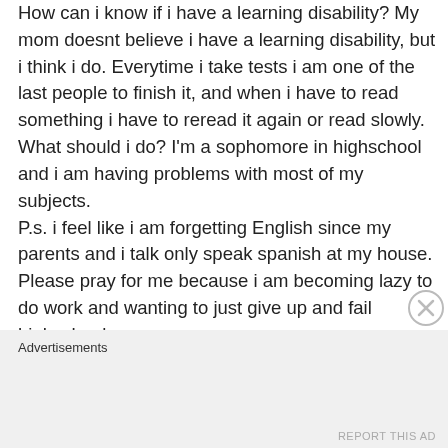How can i know if i have a learning disability? My mom doesnt believe i have a learning disability, but i think i do. Everytime i take tests i am one of the last people to finish it, and when i have to read something i have to reread it again or read slowly. What should i do? I'm a sophomore in highschool and i am having problems with most of my subjects. P.s. i feel like i am forgetting English since my parents and i talk only speak spanish at my house. Please pray for me because i am becoming lazy to do work and wanting to just give up and fail highschool.
Advertisements